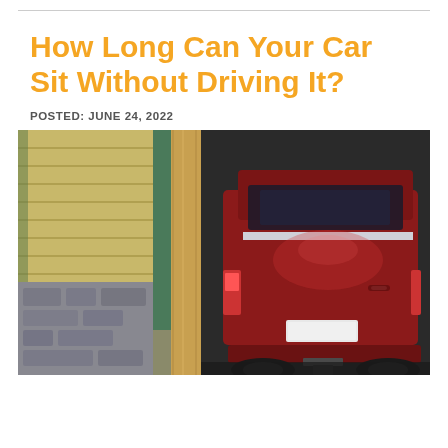How Long Can Your Car Sit Without Driving It?
POSTED: JUNE 24, 2022
[Figure (photo): A red SUV/minivan parked inside a garage, viewed from the rear, with a wooden and stone-clad building exterior visible to the left.]